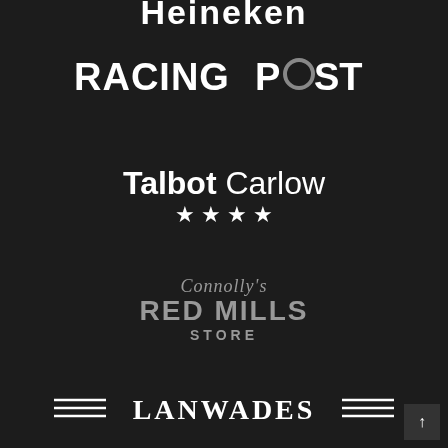[Figure (logo): Heineken logo in white text, partially cropped at top]
[Figure (logo): Racing Post logo in white bold text with grey circular O]
[Figure (logo): Talbot Carlow four-star hotel logo in white]
[Figure (logo): Connolly's Red Mills Store logo in grey script and bold text]
[Figure (logo): Lanwades logo in white bold text with decorative horizontal lines]